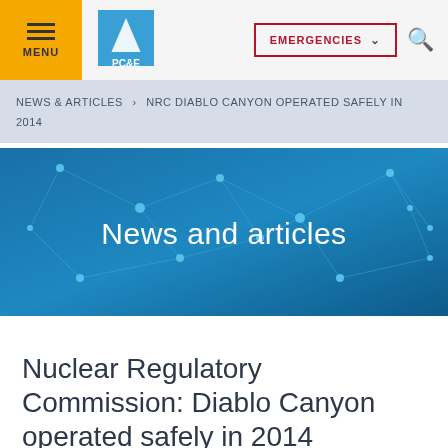MENU | PG&E | EMERGENCIES | Search
NEWS & ARTICLES > NRC DIABLO CANYON OPERATED SAFELY IN 2014
[Figure (illustration): Blue network/technology pattern hero banner with text 'News and articles']
Nuclear Regulatory Commission: Diablo Canyon operated safely in 2014